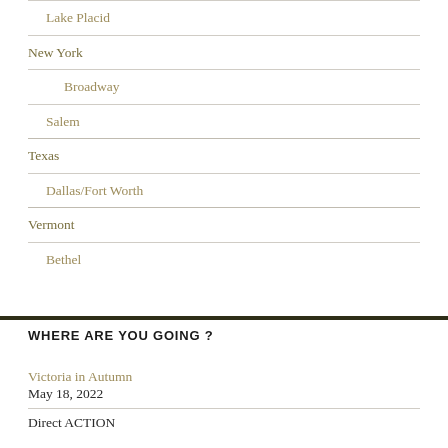Lake Placid
New York
Broadway
Salem
Texas
Dallas/Fort Worth
Vermont
Bethel
WHERE ARE YOU GOING ?
Victoria in Autumn
May 18, 2022
Direct ACTION